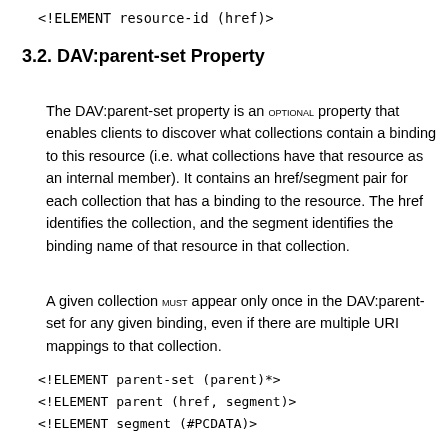<!ELEMENT resource-id (href)>
3.2. DAV:parent-set Property
The DAV:parent-set property is an OPTIONAL property that enables clients to discover what collections contain a binding to this resource (i.e. what collections have that resource as an internal member). It contains an href/segment pair for each collection that has a binding to the resource. The href identifies the collection, and the segment identifies the binding name of that resource in that collection.
A given collection MUST appear only once in the DAV:parent-set for any given binding, even if there are multiple URI mappings to that collection.
<!ELEMENT parent-set (parent)*>
<!ELEMENT parent (href, segment)>
<!ELEMENT segment (#PCDATA)>